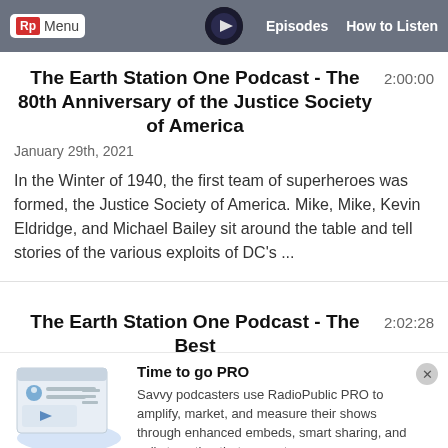Rp Menu | Episodes | How to Listen
The Earth Station One Podcast - The 80th Anniversary of the Justice Society of America
2:00:00
January 29th, 2021
In the Winter of 1940, the first team of superheroes was formed, the Justice Society of America. Mike, Mike, Kevin Eldridge, and Michael Bailey sit around the table and tell stories of the various exploits of DC's ...
The Earth Station One Podcast - The Best &#$@ We Have Ever Eaten III
2:02:28
Time to go PRO
Savvy podcasters use RadioPublic PRO to amplify, market, and measure their shows through enhanced embeds, smart sharing, and calls to action that convert.
Get started